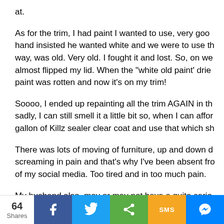at.
As for the trim, I had paint I wanted to use, very good hand insisted he wanted white and we were to use th way, was old. Very old. I fought it and lost. So, on we almost flipped my lid. When the "white old paint" drie paint was rotten and now it's on my trim!
Soooo, I ended up repainting all the trim AGAIN in th sadly, I can still smell it a little bit so, when I can affor gallon of Killz sealer clear coat and use that which sh
There was lots of moving of furniture, up and down d screaming in pain and that's why I've been absent fro of my social media. Too tired and in too much pain.
My husband also, may or may not have a quite serio awaiting an appointment for a CT scan but more abo
64 Shares | Facebook | Twitter | Share | SMS | Messenger